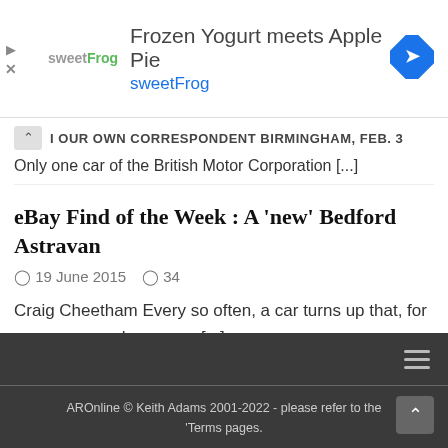[Figure (other): sweetFrog advertisement banner: 'Frozen Yogurt meets Apple Pie - sweetFrog' with logo and navigation arrow icon]
I OUR OWN CORRESPONDENT BIRMINGHAM, FEB. 3
Only one car of the British Motor Corporation [...]
eBay Find of the Week : A 'new' Bedford Astravan
19 June 2015   34
Craig Cheetham Every so often, a car turns up that, for some reason, has never [...]
AROnline © Keith Adams 2001-2022 - please refer to the 'Terms pages.